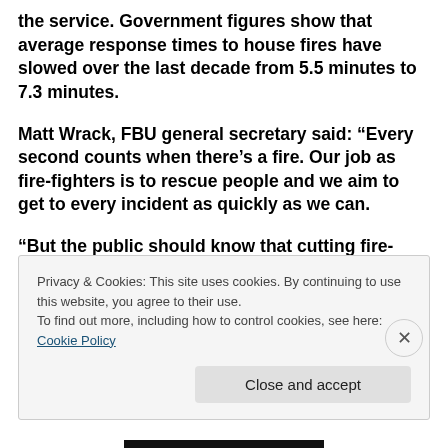the service. Government figures show that average response times to house fires have slowed over the last decade from 5.5 minutes to 7.3 minutes.
Matt Wrack, FBU general secretary said: “Every second counts when there’s a fire. Our job as fire-fighters is to rescue people and we aim to get to every incident as quickly as we can.
“But the public should know that cutting fire-fighter jobs, fewer fire engines and other cuts will delay our
Privacy & Cookies: This site uses cookies. By continuing to use this website, you agree to their use.
To find out more, including how to control cookies, see here: Cookie Policy